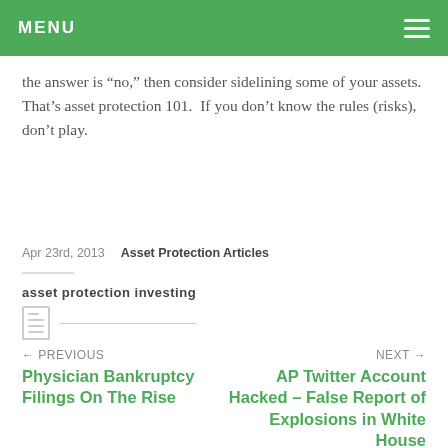MENU
the answer is “no,” then consider sidelining some of your assets.  That’s asset protection 101.  If you don’t know the rules (risks), don’t play.
Apr 23rd, 2013    Asset Protection Articles
asset protection investing
← PREVIOUS
Physician Bankruptcy Filings On The Rise
NEXT →
AP Twitter Account Hacked – False Report of Explosions in White House